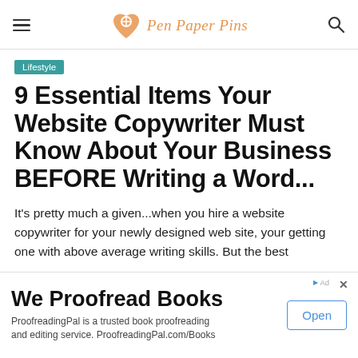Pen Paper Pins
Lifestyle
9 Essential Items Your Website Copywriter Must Know About Your Business BEFORE Writing a Word...
It's pretty much a given...when you hire a website copywriter for your newly designed web site, your getting one with above average writing skills. But the best
We Proofread Books. ProofreadingPal is a trusted book proofreading and editing service. ProofreadingPal.com/Books